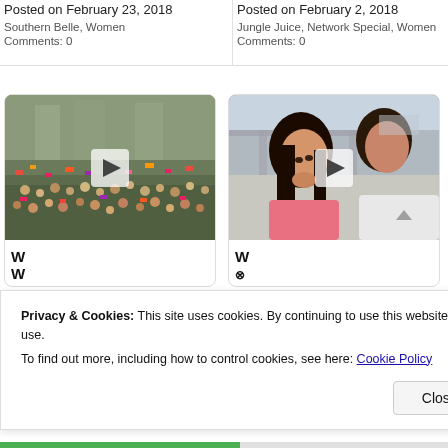Posted on February 23, 2018
Southern Belle, Women
Comments: 0
Posted on February 2, 2018
Jungle Juice, Network Special, Women
Comments: 0
[Figure (photo): Aerial view of large crowd of protesters holding signs]
[Figure (photo): Two young women, one leaning on the other, outdoors]
Privacy & Cookies: This site uses cookies. By continuing to use this website, you agree to their use.
To find out more, including how to control cookies, see here: Cookie Policy
Close and accept